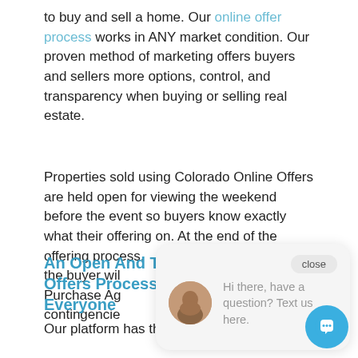to buy and sell a home. Our online offer process works in ANY market condition. Our proven method of marketing offers buyers and sellers more options, control, and transparency when buying or selling real estate.
Properties sold using Colorado Online Offers are held open for viewing the weekend before the event so buyers know exactly what their offering on. At the end of the offering process, the buyer wil[l...] Purchase Ag[reement...] contingencies[...]
[Figure (other): Chat widget overlay showing 'close' button, circular avatar photo of a woman, and message: 'Hi there, have a question? Text us here.' with blue circular chat button in bottom right corner.]
An Open And Transparent Offers Process Benefits Everyone
Our platform has the power to create a true